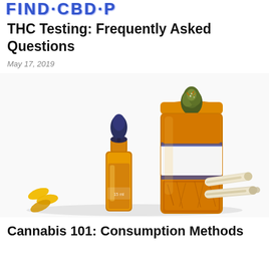FIND CBDP
THC Testing: Frequently Asked Questions
May 17, 2019
[Figure (photo): Cannabis products including a dropper bottle with amber oil, an orange prescription bottle filled with ground cannabis and a cannabis bud on top, small yellow gel capsules, and two rolled joints on a white background.]
Cannabis 101: Consumption Methods